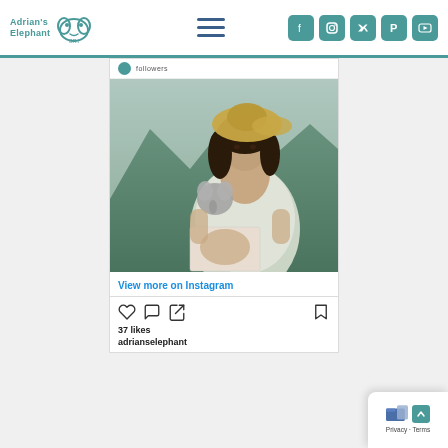Adrian's Elephant — navigation header with logo, hamburger menu, and social icons (Facebook, Instagram, Twitter, Pinterest, YouTube)
[Figure (screenshot): Instagram embed showing a woman with a straw hat holding a stuffed elephant toy and a photo of a baby, with 'followers' text, 'View more on Instagram' link, like/comment/share icons, 37 likes, and username adrianselephant]
[Figure (photo): Privacy/Terms cookie consent overlay in bottom right corner]